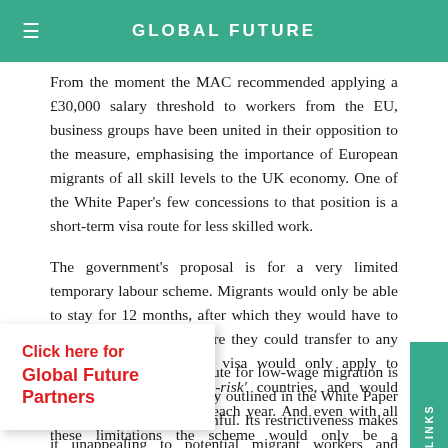GLOBAL FUTURE
From the moment the MAC recommended applying a £30,000 salary threshold to workers from the EU, business groups have been united in their opposition to the measure, emphasising the importance of European migrants of all skill levels to the UK economy. One of the White Paper's few concessions to that position is a short-term visa route for less skilled work.
The government's proposal is for a very limited temporary labour scheme. Migrants would only be able to stay for 12 months, after which they would have to leave for 12 months before they could transfer to any other kind of visa. The visa would only apply to citizens of selected 'low-risk' countries, and would charge an increasing fee each year. And even with all these limitations the scheme would only be a transitional accommodation, due to close after 2025.
[Figure (other): Click here for Global Future Partners promotional box overlay]
QUICK LINKS
Although some kind of route for low-wage migration is better than none, the policy outlined in the White Paper would still be deeply harmful. Its restrictiveness makes it unappealing to potential migrant workers and unsuited to employers' needs. And its design would discourage social integration in local